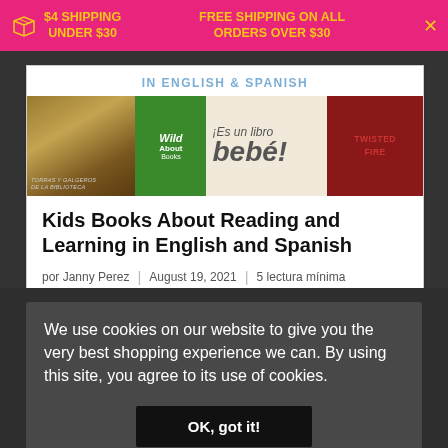$4 SHIPPING UNDER $30   FREE SHIPPING ON ALL ORDERS OVER $30
[Figure (photo): Strip of book covers: a brown turtle book in Spanish, Wild About Books, ¡Es un libro bebé!, and a red book]
Kids Books About Reading and Learning in English and Spanish
por Janny Perez | August 19, 2021 | 5 lectura mínima
We use cookies on our website to give you the very best shopping experience we can. By using this site, you agree to its use of cookies.
OK, got it!